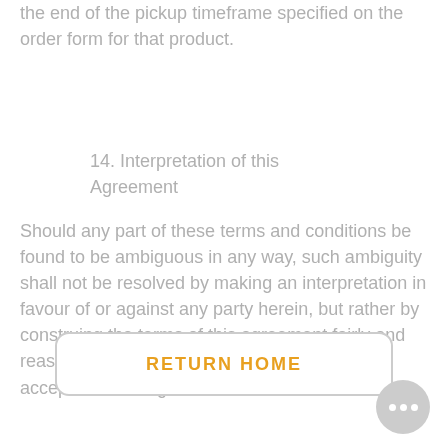the end of the pickup timeframe specified on the order form for that product.
14. Interpretation of this Agreement
Should any part of these terms and conditions be found to be ambiguous in any way, such ambiguity shall not be resolved by making an interpretation in favour of or against any party herein, but rather by construing the terms of this agreement fairly and reasonably in accordance with their generally accepted meaning.
RETURN HOME